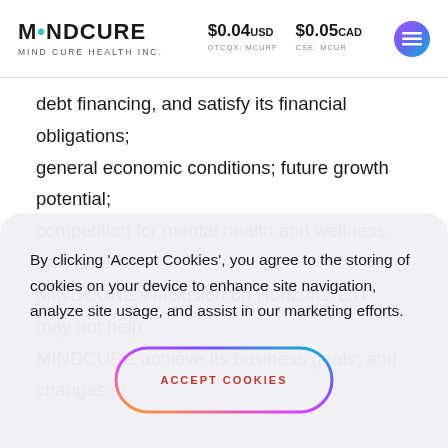MINDCURE | MIND CURE HEALTH INC. | $0.04 USD OTCQX: MCURF | $0.05 CAD CSE: MCUR
debt financing, and satisfy its financial obligations; general economic conditions; future growth potential; competition for mental health and wellness investments; MINDCURE's inclusion on Horizons' ETF may not help MINDCURE achieve its business goals; and changes in
By clicking 'Accept Cookies', you agree to the storing of cookies on your device to enhance site navigation, analyze site usage, and assist in our marketing efforts.
ACCEPT COOKIES